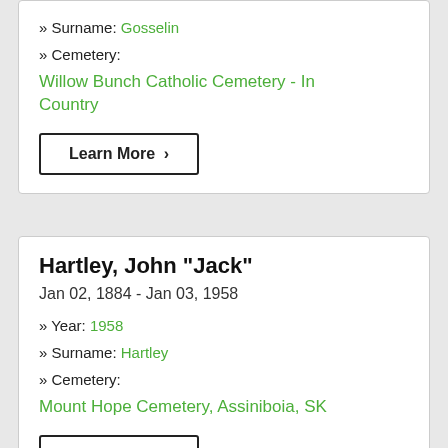» Surname: Gosselin
» Cemetery:
Willow Bunch Catholic Cemetery - In Country
Learn More >
Hartley, John "Jack"
Jan 02, 1884 - Jan 03, 1958
» Year: 1958
» Surname: Hartley
» Cemetery:
Mount Hope Cemetery, Assiniboia, SK
Learn More >